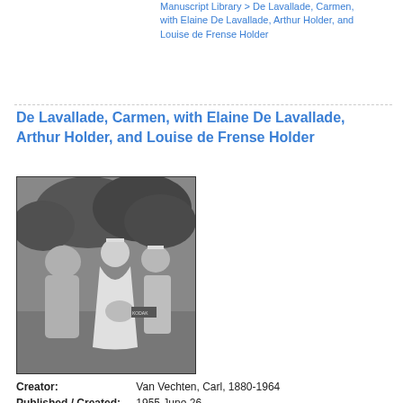Manuscript Library > De Lavallade, Carmen, with Elaine De Lavallade, Arthur Holder, and Louise de Frense Holder
De Lavallade, Carmen, with Elaine De Lavallade, Arthur Holder, and Louise de Frense Holder
[Figure (photo): Black and white photograph of three women outdoors, two wearing bridal tiaras, one in a wedding dress holding a bouquet, trees in the background.]
Creator: Van Vechten, Carl, 1880-1964
Published / Created: 1955 June 26